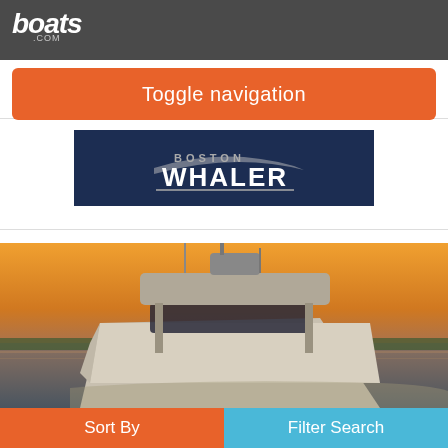boats.com
Toggle navigation
[Figure (logo): Boston Whaler logo on dark navy background]
[Figure (photo): Boston Whaler motorboat seen from rear quarter angle on water at sunset/golden hour, with photo count badge showing 22 photos]
Sort By
Filter Search